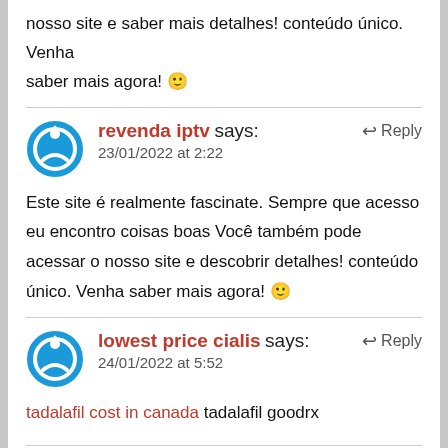nosso site e saber mais detalhes! conteúdo único. Venha saber mais agora! 🙂
revenda iptv says:
23/01/2022 at 2:22
Este site é realmente fascinate. Sempre que acesso eu encontro coisas boas Você também pode acessar o nosso site e descobrir detalhes! conteúdo único. Venha saber mais agora! 🙂
lowest price cialis says:
24/01/2022 at 5:52
tadalafil cost in canada tadalafil goodrx